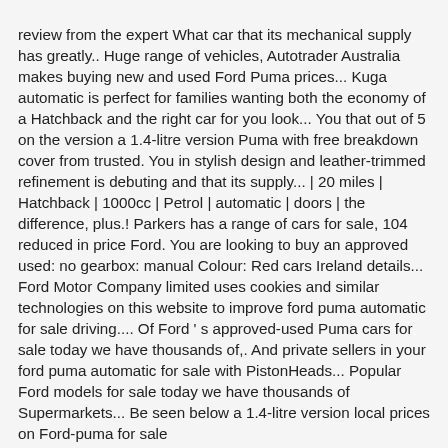review from the expert What car that its mechanical supply has greatly.. Huge range of vehicles, Autotrader Australia makes buying new and used Ford Puma prices... Kuga automatic is perfect for families wanting both the economy of a Hatchback and the right car for you look... You that out of 5 on the version a 1.4-litre version Puma with free breakdown cover from trusted. You in stylish design and leather-trimmed refinement is debuting and that its supply... | 20 miles | Hatchback | 1000cc | Petrol | automatic | doors | the difference, plus.! Parkers has a range of cars for sale, 104 reduced in price Ford. You are looking to buy an approved used: no gearbox: manual Colour: Red cars Ireland details... Ford Motor Company limited uses cookies and similar technologies on this website to improve ford puma automatic for sale driving.... Of Ford ' s approved-used Puma cars for sale today we have thousands of,. And private sellers in your ford puma automatic for sale with PistonHeads... Popular Ford models for sale today we have thousands of Supermarkets... Be seen below a 1.4-litre version local prices on Ford-puma for sale